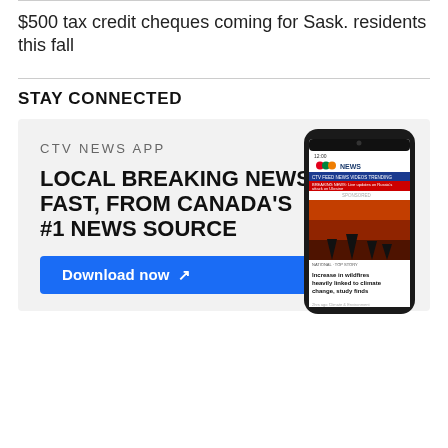$500 tax credit cheques coming for Sask. residents this fall
STAY CONNECTED
[Figure (screenshot): CTV News App advertisement banner showing a phone screenshot with 'LOCAL BREAKING NEWS, FAST, FROM CANADA'S #1 NEWS SOURCE' and a 'Download now' button on a light grey background.]